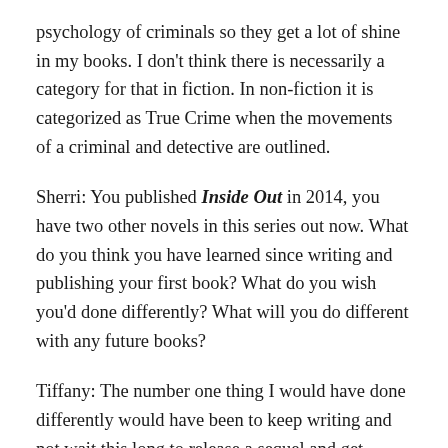psychology of criminals so they get a lot of shine in my books. I don't think there is necessarily a category for that in fiction. In non-fiction it is categorized as True Crime when the movements of a criminal and detective are outlined.
Sherri: You published Inside Out in 2014, you have two other novels in this series out now. What do you think you have learned since writing and publishing your first book? What do you wish you'd done differently? What will you do different with any future books?
Tiffany: The number one thing I would have done differently would have been to keep writing and not wait this long to release a sequel and get serious about my career as a writer. I did a lot of things between 2014 and now that was not writing, marketing or honing my skills as an author. Let my mother tell it, there are two things I was born to do, teach and write. I have